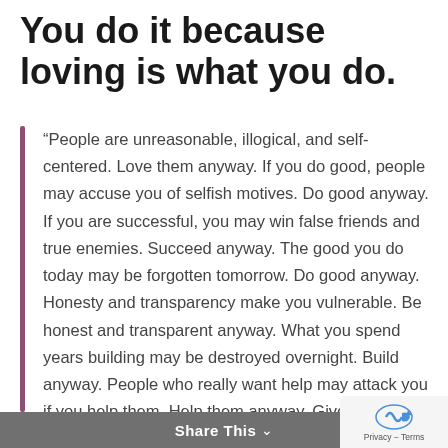You do it because loving is what you do.
“People are unreasonable, illogical, and self-centered. Love them anyway. If you do good, people may accuse you of selfish motives. Do good anyway. If you are successful, you may win false friends and true enemies. Succeed anyway. The good you do today may be forgotten tomorrow. Do good anyway. Honesty and transparency make you vulnerable. Be honest and transparent anyway. What you spend years building may be destroyed overnight. Build anyway. People who really want help may attack you if you help them. Help them anyway. Give the world the best you have and you may get hurt. Give the world your best anyway.” — Mother Teresa
Share This